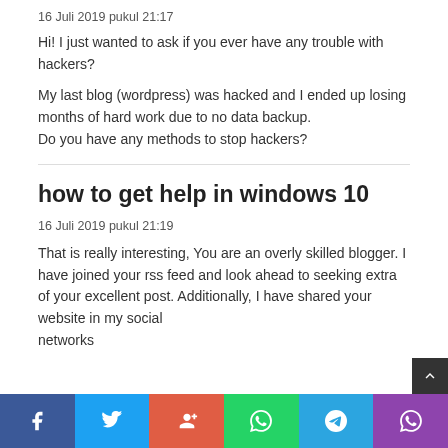16 Juli 2019 pukul 21:17
Hi! I just wanted to ask if you ever have any trouble with hackers?
My last blog (wordpress) was hacked and I ended up losing months of hard work due to no data backup.
Do you have any methods to stop hackers?
how to get help in windows 10
16 Juli 2019 pukul 21:19
That is really interesting, You are an overly skilled blogger. I have joined your rss feed and look ahead to seeking extra of your excellent post. Additionally, I have shared your website in my social networks